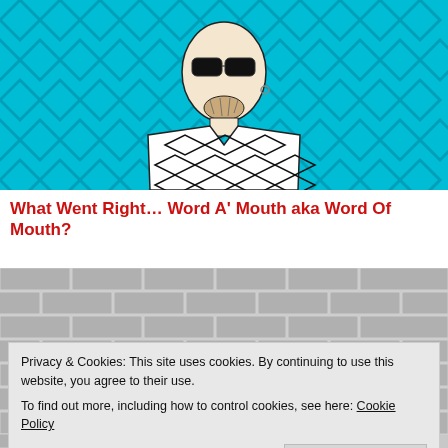[Figure (illustration): Illustrated portrait of a person with sunglasses, beard, and earring wearing a black-and-white geometric patterned shirt against a cyan/turquoise geometric background pattern]
What Went Right With… Word A' Mouth aka Word Of Mouth?
[Figure (photo): Black and white photo of a brick wall with graffiti text reading 'WORDA']
Privacy & Cookies: This site uses cookies. By continuing to use this website, you agree to their use. To find out more, including how to control cookies, see here: Cookie Policy